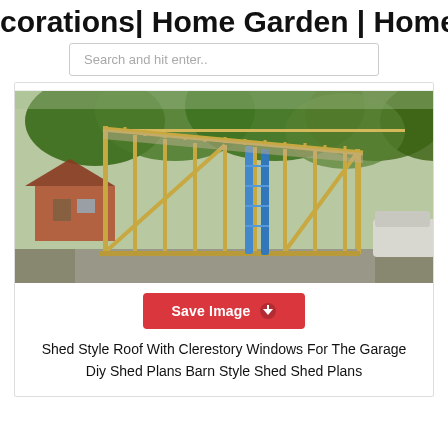corations| Home Garden | Home Fa...
Search and hit enter..
[Figure (photo): A shed structure under construction showing wooden framing with rafters, vertical studs, diagonal braces, and a sloped roof. A blue ladder is visible inside. Background shows trees and a neighboring house.]
Shed Style Roof With Clerestory Windows For The Garage Diy Shed Plans Barn Style Shed Shed Plans